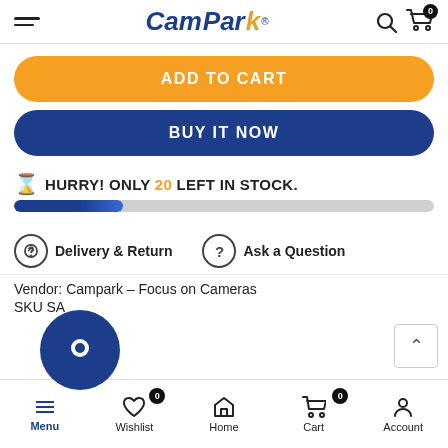CamPark
ADD TO CART
BUY IT NOW
HURRY! ONLY 20 LEFT IN STOCK.
[Figure (infographic): Stock progress bar showing approximately 26% filled in blue]
Delivery & Return   Ask a Question
Vendor: Campark – Focus on Cameras
SKU: SA
Menu  Wishlist  Home  Cart  Account